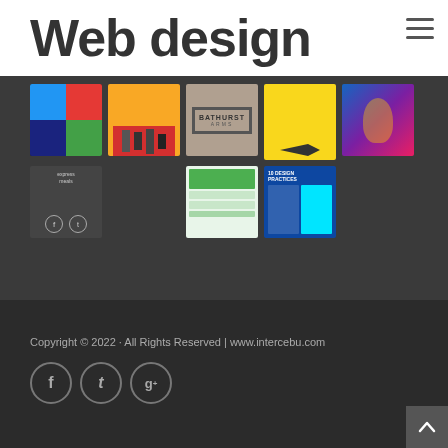Web design
[Figure (screenshot): Gallery of 8 web design thumbnail images arranged in two rows on a dark background]
Copyright © 2022 · All Rights Reserved | www.intercebu.com